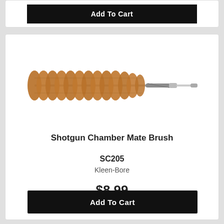[Figure (other): Add To Cart button on partially visible product card at top of page]
[Figure (photo): Shotgun Chamber Mate Brush product photo — a cylindrical bronze/copper bristle cleaning brush with twisted wire handle and metal connector tip]
Shotgun Chamber Mate Brush SC205
Kleen-Bore
$8.99
Add To Cart